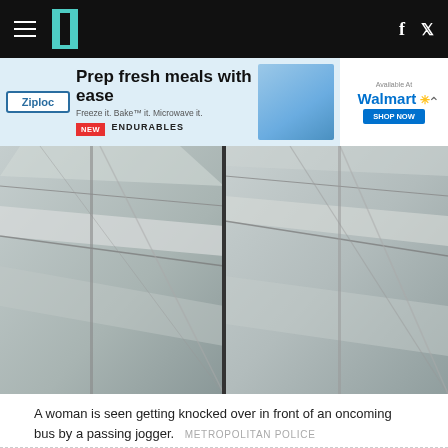HuffPost navigation bar with logo, hamburger menu, Facebook and Twitter icons
[Figure (infographic): Ziploc advertisement banner: Prep fresh meals with ease. Freeze it. Bake it. Microwave it. New Endurables. Available at Walmart.]
[Figure (photo): Side-by-side CCTV stills showing a woman being knocked over in front of an oncoming bus by a passing jogger. Grey pavement and bus panels visible.]
A woman is seen getting knocked over in front of an oncoming bus by a passing jogger. METROPOLITAN POLICE